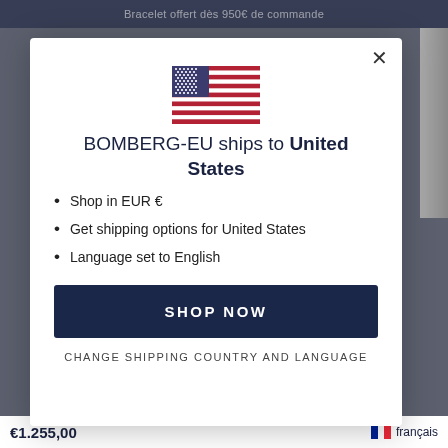Bracelet offert dès 950€ de commande
[Figure (illustration): US flag icon centered in modal]
BOMBERG-EU ships to United States
Shop in EUR €
Get shipping options for United States
Language set to English
SHOP NOW
CHANGE SHIPPING COUNTRY AND LANGUAGE
€1.255,00
français